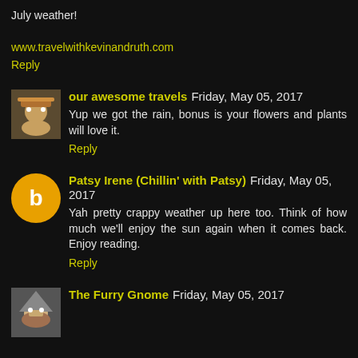July weather!
www.travelwithkevinandruth.com
Reply
our awesome travels  Friday, May 05, 2017
Yup we got the rain, bonus is your flowers and plants will love it.
Reply
Patsy Irene (Chillin' with Patsy)  Friday, May 05, 2017
Yah pretty crappy weather up here too. Think of how much we'll enjoy the sun again when it comes back. Enjoy reading.
Reply
The Furry Gnome  Friday, May 05, 2017